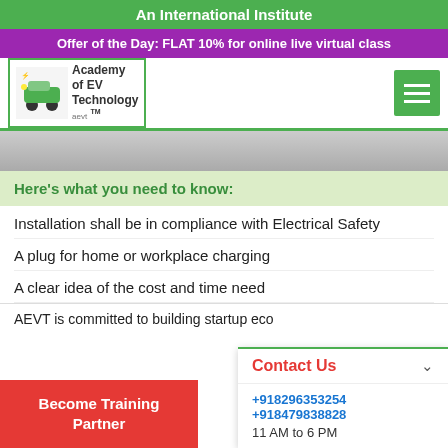An International Institute
Offer of the Day: FLAT 10% for online live virtual class
[Figure (logo): Academy of EV Technology logo with green border]
Here's what you need to know:
Installation shall be in compliance with Electrical Safety
A plug for home or workplace charging
A clear idea of the cost and time need
AEVT is committed to building startup eco
Become Training Partner
Contact Us
+918296353254
+918479838828
11 AM to 6 PM